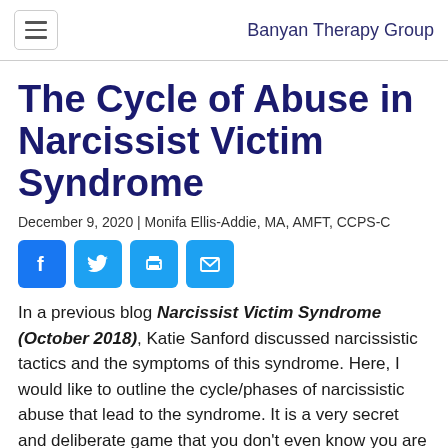Banyan Therapy Group
The Cycle of Abuse in Narcissist Victim Syndrome
December 9, 2020 | Monifa Ellis-Addie, MA, AMFT, CCPS-C
[Figure (other): Social sharing icons: Facebook, Twitter, Print, Email]
In a previous blog Narcissist Victim Syndrome (October 2018), Katie Sanford discussed narcissistic tactics and the symptoms of this syndrome. Here, I would like to outline the cycle/phases of narcissistic abuse that lead to the syndrome. It is a very secret and deliberate game that you don’t even know you are playing. By the time you realize you’ve been